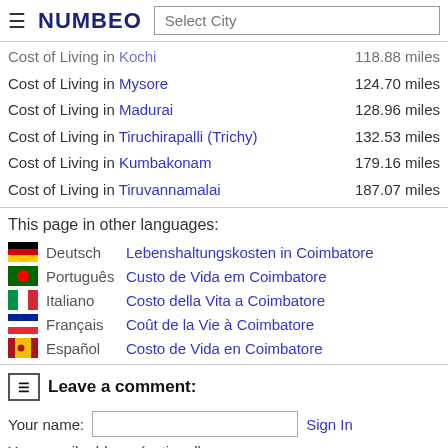≡ NUMBEO | Select City
Cost of Living in Kochi — 118.88 miles
Cost of Living in Mysore — 124.70 miles
Cost of Living in Madurai — 128.96 miles
Cost of Living in Tiruchirapalli (Trichy) — 132.53 miles
Cost of Living in Kumbakonam — 179.16 miles
Cost of Living in Tiruvannamalai — 187.07 miles
This page in other languages:
Deutsch — Lebenshaltungskosten in Coimbatore
Português — Custo de Vida em Coimbatore
Italiano — Costo della Vita a Coimbatore
Français — Coût de la Vie à Coimbatore
Español — Costo de Vida en Coimbatore
Leave a comment:
Your name: [input] Sign In
Your email address (optional):
Y... (HTML)